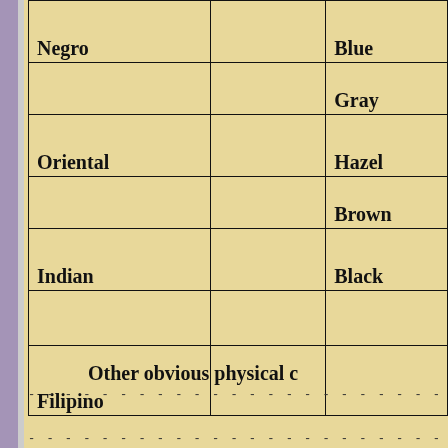| Race |  | Eye Color |
| --- | --- | --- |
| Negro |  | Blue |
|  |  | Gray |
| Oriental |  | Hazel |
|  |  | Brown |
| Indian |  | Black |
|  |  |  |
| Filipino |  |  |
Other obvious physical c